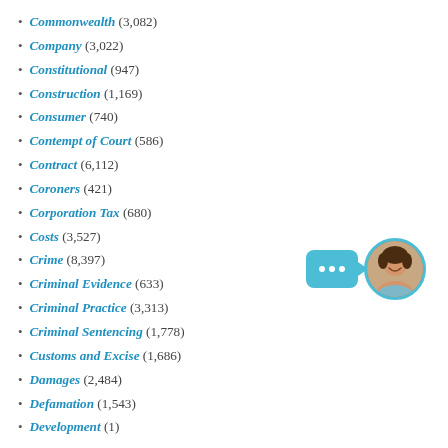Commonwealth (3,082)
Company (3,022)
Constitutional (947)
Construction (1,169)
Consumer (740)
Contempt of Court (586)
Contract (6,112)
Coroners (421)
Corporation Tax (680)
Costs (3,527)
Crime (8,397)
Criminal Evidence (633)
Criminal Practice (3,313)
Criminal Sentencing (1,778)
Customs and Excise (1,686)
Damages (2,484)
Defamation (1,543)
Development (1)
[Figure (illustration): Chat bubble icon with three dots and a circular avatar photo of a smiling woman, serving as a live chat widget.]